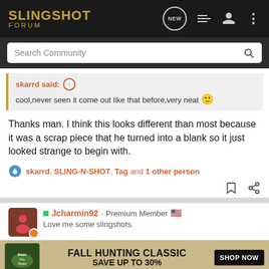SLINGSHOT FORUM
Search Community
skarrd said: ↑
cool,never seen it come out like that before,very neat 🙂
Thanks man. I think this looks different than most because it was a scrap piece that he turned into a blank so it just looked strange to begin with.
skarrd, SLING-N-SHOT, Tag and 1 other person
Jcharmin92 · Premium Member
Love me some slingshots.
[Figure (screenshot): Bass Pro Shops Fall Hunting Classic advertisement banner: Save up to 30%, Shop Now button]